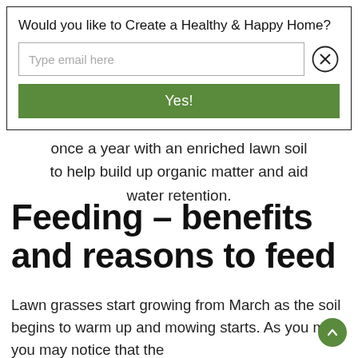[Figure (screenshot): Email signup modal with title 'Would you like to Create a Healthy & Happy Home?', an email input field with placeholder 'Type email here', a close (X) button, and a green 'Yes!' submit button]
once a year with an enriched lawn soil to help build up organic matter and aid water retention.
Feeding – benefits and reasons to feed
Lawn grasses start growing from March as the soil begins to warm up and mowing starts. As you mow you may notice that the